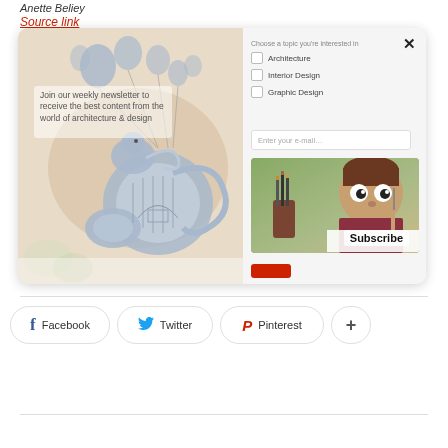Anette Beliey
Source link
[Figure (screenshot): Newsletter subscription modal popup with illustrated left panel showing a French horn with balloons and text 'Join our weekly newsletter to receive the best content from the world of architecture & design', and right panel with checkboxes for Architecture, Interior Design, Graphic Design, email input field, a Subscribe button with cartoon character image, and a red Close button.]
Facebook
Twitter
Pinterest